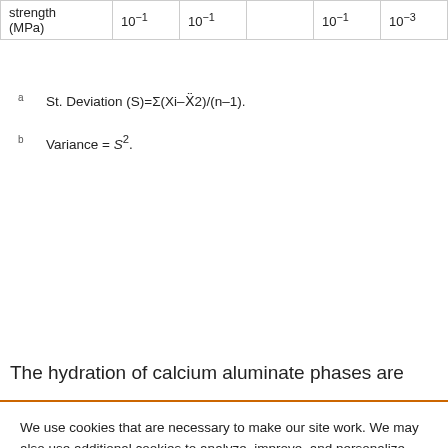| strength
(MPa) | 10⁻¹ | 10⁻¹ |  | 10⁻¹ | 10⁻³ |
a  St. Deviation (S)=Σ(Xi–X̄²)/(n–1).
b  Variance = S².
The hydration of calcium aluminate phases are
We use cookies that are necessary to make our site work. We may also use additional cookies to analyze, improve, and personalize our content and your digital experience. For more information, see our Cookie Policy
Cookie settings
Accept all cookies